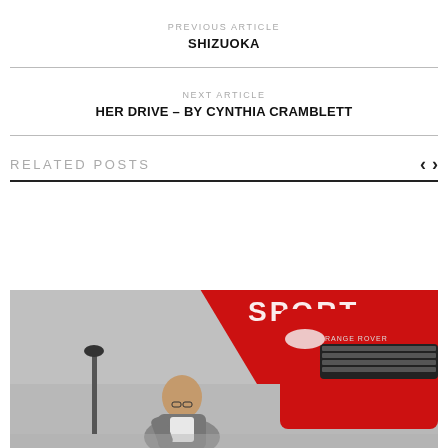PREVIOUS ARTICLE
SHIZUOKA
NEXT ARTICLE
HER DRIVE – BY CYNTHIA CRAMBLETT
RELATED POSTS
[Figure (photo): A man in a grey blazer leaning over, in front of a bright red Range Rover Sport vehicle at an indoor automotive event with a red SPORT backdrop.]